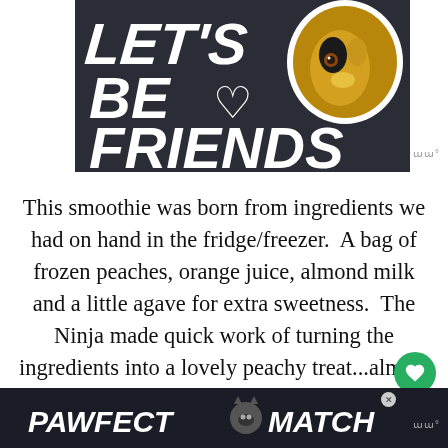[Figure (illustration): Dark banner image with text 'LET'S BE ♡ FRIENDS' in bold italic white letters on a dark background, with a photo of a husky dog on the right side]
This smoothie was born from ingredients we had on hand in the fridge/freezer.  A bag of frozen peaches, orange juice, almond milk and a little agave for extra sweetness.  The Ninja made quick work of turning the ingredients into a lovely peachy treat...almost
[Figure (illustration): Bottom advertisement banner with dark background showing 'PAWFECT MATCH' in bold italic white text with a cat silhouette icon between the words]